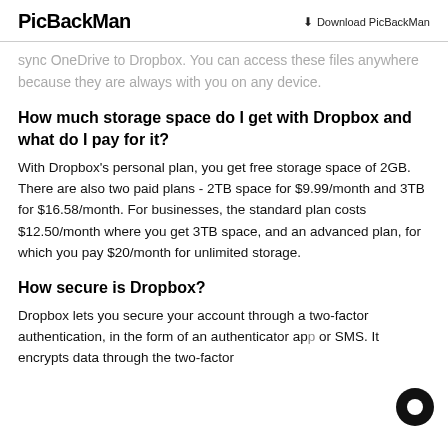PicBackMan | Download PicBackMan
sync OneDrive to Dropbox. You can access these files anywhere because they are always with you on any device.
How much storage space do I get with Dropbox and what do I pay for it?
With Dropbox’s personal plan, you get free storage space of 2GB. There are also two paid plans - 2TB space for $9.99/month and 3TB for $16.58/month. For businesses, the standard plan costs $12.50/month where you get 3TB space, and an advanced plan, for which you pay $20/month for unlimited storage.
How secure is Dropbox?
Dropbox lets you secure your account through a two-factor authentication, in the form of an authenticator app or SMS. It encrypts data through the two-factor